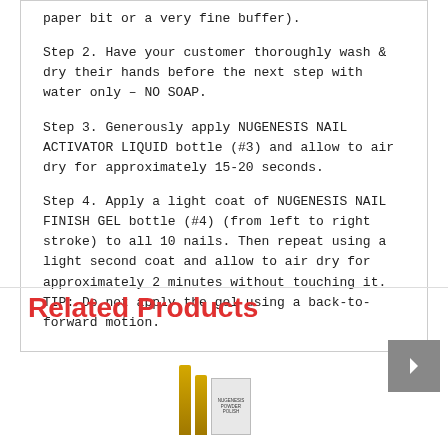paper bit or a very fine buffer).
Step 2. Have your customer thoroughly wash & dry their hands before the next step with water only – NO SOAP.
Step 3. Generously apply NUGENESIS NAIL ACTIVATOR LIQUID bottle (#3) and allow to air dry for approximately 15-20 seconds.
Step 4. Apply a light coat of NUGENESIS NAIL FINISH GEL bottle (#4) (from left to right stroke) to all 10 nails. Then repeat using a light second coat and allow to air dry for approximately 2 minutes without touching it. TIP: Do not apply the gel using a back-to-forward motion.
Related Products
[Figure (photo): Product images showing nail product bottles in the Related Products section]